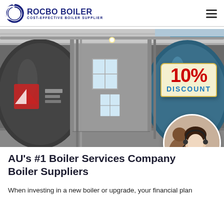ROCBO BOILER COST-EFFECTIVE BOILER SUPPLIER
[Figure (photo): Industrial boiler room with large cylindrical boilers on both sides of a corridor, with a 10% DISCOUNT badge overlaid and a customer service agent in a circular inset at the bottom right]
AU's #1 Boiler Services Company Boiler Suppliers
When investing in a new boiler or upgrade, your financial plan